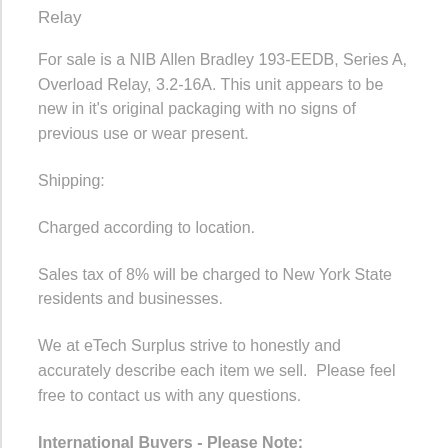Relay
For sale is a NIB Allen Bradley 193-EEDB, Series A, Overload Relay, 3.2-16A. This unit appears to be new in it's original packaging with no signs of previous use or wear present.
Shipping:
Charged according to location.
Sales tax of 8% will be charged to New York State residents and businesses.
We at eTech Surplus strive to honestly and accurately describe each item we sell.  Please feel free to contact us with any questions.
International Buyers - Please Note: